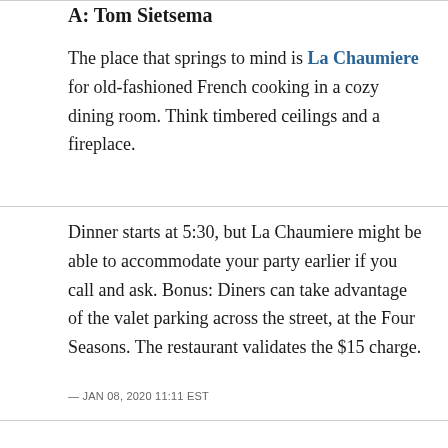A: Tom Sietsema
The place that springs to mind is La Chaumiere for old-fashioned French cooking in a cozy dining room. Think timbered ceilings and a fireplace.
Dinner starts at 5:30, but La Chaumiere might be able to accommodate your party earlier if you call and ask. Bonus: Diners can take advantage of the valet parking across the street, at the Four Seasons. The restaurant validates the $15 charge.
— JAN 08, 2020 11:11 EST